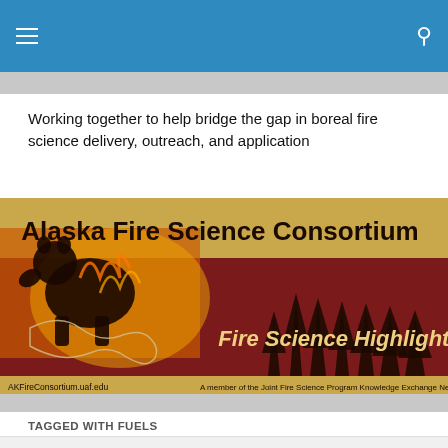Working together to help bridge the gap in boreal fire science delivery, outreach, and application
[Figure (logo): Alaska Fire Science Consortium banner with bear and fire imagery. Text reads 'Alaska Fire Science Consortium', 'Fire Science Highlights', 'AKFireConsortium.uaf.edu', 'A member of the Joint Fire Science Program Knowledge Exchange Network']
TAGGED WITH FUELS